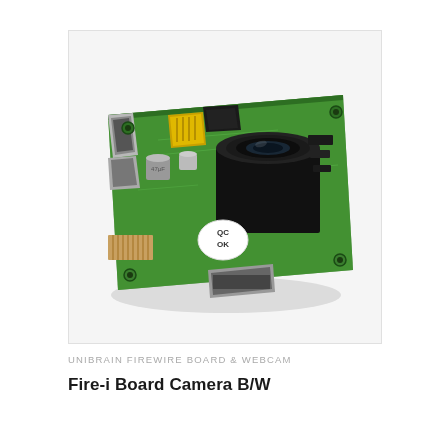[Figure (photo): A Unibrain Fire-i Board Camera B/W — a small green PCB (printed circuit board) with electronic components including capacitors, a transformer coil, ICs, a black cylindrical lens mount/camera module in the center-right, a FireWire (IEEE 1394) connector on the left, and another connector at the bottom. The board has a QC OK sticker on it. The photo is shot at an angle on a white/light background.]
UNIBRAIN FIREWIRE BOARD & WEBCAM
Fire-i Board Camera B/W